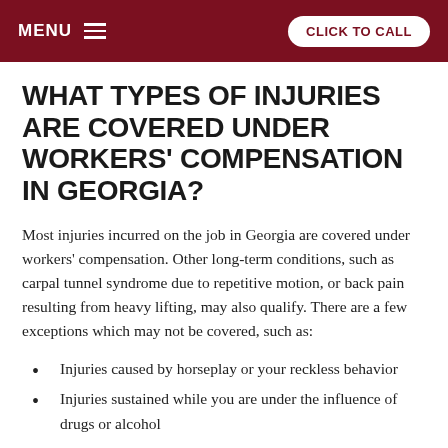MENU  CLICK TO CALL
WHAT TYPES OF INJURIES ARE COVERED UNDER WORKERS' COMPENSATION IN GEORGIA?
Most injuries incurred on the job in Georgia are covered under workers' compensation. Other long-term conditions, such as carpal tunnel syndrome due to repetitive motion, or back pain resulting from heavy lifting, may also qualify. There are a few exceptions which may not be covered, such as:
Injuries caused by horseplay or your reckless behavior
Injuries sustained while you are under the influence of drugs or alcohol